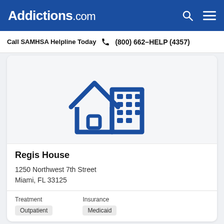Addictions.com
Call SAMHSA Helpline Today  (800) 662-HELP (4357)
[Figure (illustration): Icon of a house with a building/facility behind it, rendered in dark blue outline style on a light grey background.]
Regis House
1250 Northwest 7th Street
Miami, FL 33125
Treatment
Outpatient
Insurance
Medicaid